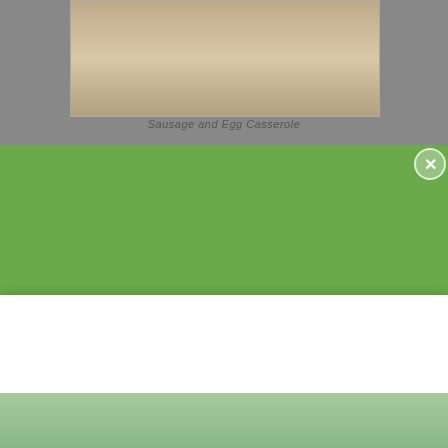[Figure (photo): Food photo showing a casserole dish with sausage and egg casserole]
Sausage and Egg Casserole
[Figure (screenshot): Green promotional banner: 20% Off of Everything at PrimalKitchen.com - Subscribe to our emails to get the best curated content]
20% Off of Everything at PrimalKitchen.com
Subscribe to our emails to get the best curated content
By clicking “Accept All Cookies”, you agree to the storing of cookies on your device to enhance site navigation, analyze site usage, and assist in our marketing efforts.
Accept All Cookies
Cookies Settings